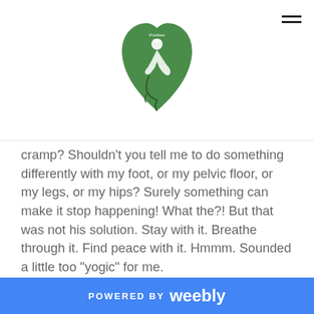[Figure (logo): Pratikam Yoga green heart-shaped logo with a yoga pose silhouette and snake/leaf design]
cramp? Shouldn't you tell me to do something differently with my foot, or my pelvic floor, or my legs, or my hips? Surely something can make it stop happening! What the?! But that was not his solution. Stay with it. Breathe through it. Find peace with it. Hmmm. Sounded a little too "yogic" for me.

However, after my initial skepticism, I decided to try it. What did I have to lose except a pain in the foot? The next few classes I took, when the cramps started, I stayed with it. I breathed through it. I hurt. I silently cursed Todd and his yogic idea. But eventually, as my mind settled and I focused more on my breath, the
POWERED BY weebly